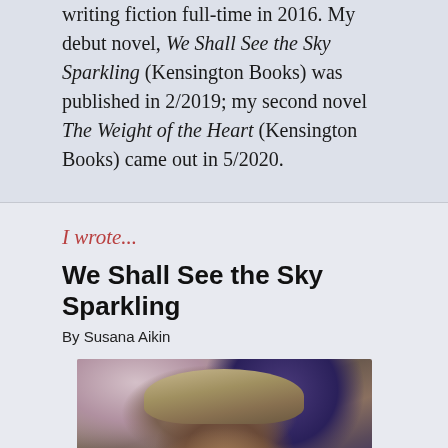writing fiction full-time in 2016. My debut novel, We Shall See the Sky Sparkling (Kensington Books) was published in 2/2019; my second novel The Weight of the Heart (Kensington Books) came out in 5/2020.
I wrote...
We Shall See the Sky Sparkling
By Susana Aikin
[Figure (photo): Book cover photo showing a woman in period dress wearing an ornate hat with feathers, with a blurred floral background. The image is for the book 'We Shall See the Sky Sparkling'.]